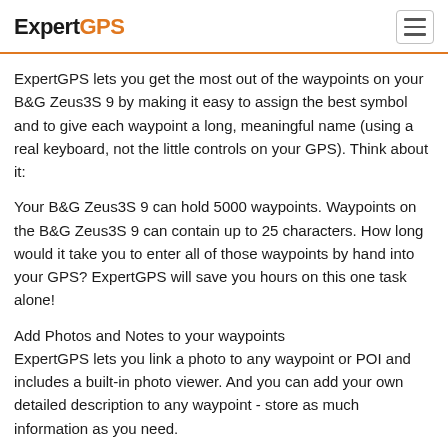ExpertGPS
ExpertGPS lets you get the most out of the waypoints on your B&G Zeus3S 9 by making it easy to assign the best symbol and to give each waypoint a long, meaningful name (using a real keyboard, not the little controls on your GPS). Think about it:
Your B&G Zeus3S 9 can hold 5000 waypoints. Waypoints on the B&G Zeus3S 9 can contain up to 25 characters. How long would it take you to enter all of those waypoints by hand into your GPS? ExpertGPS will save you hours on this one task alone!
Add Photos and Notes to your waypoints
ExpertGPS lets you link a photo to any waypoint or POI and includes a built-in photo viewer. And you can add your own detailed description to any waypoint - store as much information as you need.